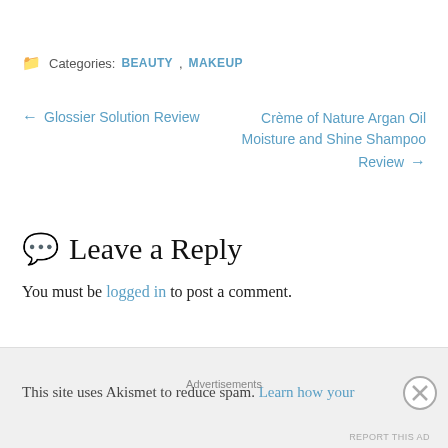Categories: BEAUTY, MAKEUP
← Glossier Solution Review
Crème of Nature Argan Oil Moisture and Shine Shampoo Review →
Leave a Reply
You must be logged in to post a comment.
This site uses Akismet to reduce spam. Learn how your
Advertisements
REPORT THIS AD